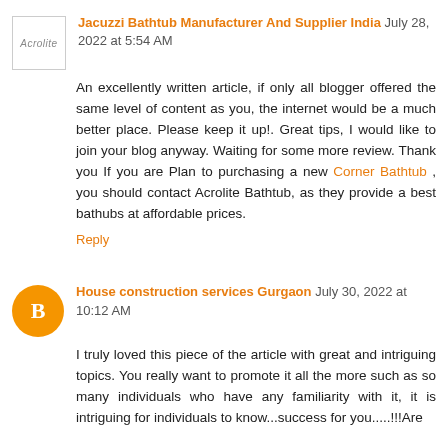[Figure (logo): Acrolite brand logo — small rectangular avatar with 'Acrolite' text in grey italic]
Jacuzzi Bathtub Manufacturer And Supplier India July 28, 2022 at 5:54 AM
An excellently written article, if only all blogger offered the same level of content as you, the internet would be a much better place. Please keep it up!. Great tips, I would like to join your blog anyway. Waiting for some more review. Thank you If you are Plan to purchasing a new Corner Bathtub , you should contact Acrolite Bathtub, as they provide a best bathubs at affordable prices.
Reply
[Figure (logo): Orange circular Blogger icon with white 'B' letter]
House construction services Gurgaon July 30, 2022 at 10:12 AM
I truly loved this piece of the article with great and intriguing topics. You really want to promote it all the more such as so many individuals who have any familiarity with it, it is intriguing for individuals to know...success for you.....!!!Are